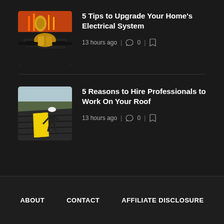[Figure (photo): Close-up photo of electrical wiring and connectors, used as thumbnail for article 1]
5 Tips to Upgrade Your Home's Electrical System
13 hours ago  |  💬 0  |  🔖
[Figure (photo): Photo of a worker on a rooftop laying material, used as thumbnail for article 2]
5 Reasons to Hire Professionals to Work On Your Roof
13 hours ago  |  💬 0  |  🔖
ABOUT   CONTACT   AFFILIATE DISCLOSURE